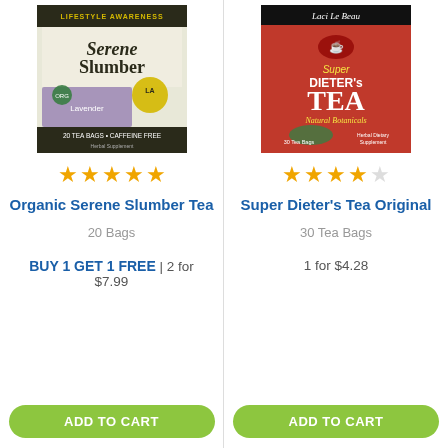[Figure (photo): Lifestyle Awareness Organic Serene Slumber Tea box with lavender, 20 Tea Bags Caffeine Free]
[Figure (photo): Laci Le Beau Super Dieter's Tea Original, 30 Tea Bags, Natural Botanicals, Naturally Caffeine Free]
★★★★★ (4.5 stars)
★★★★☆ (4 stars)
Organic Serene Slumber Tea
Super Dieter's Tea Original
20 Bags
30 Tea Bags
BUY 1 GET 1 FREE | 2 for $7.99
1 for $4.28
ADD TO CART
ADD TO CART